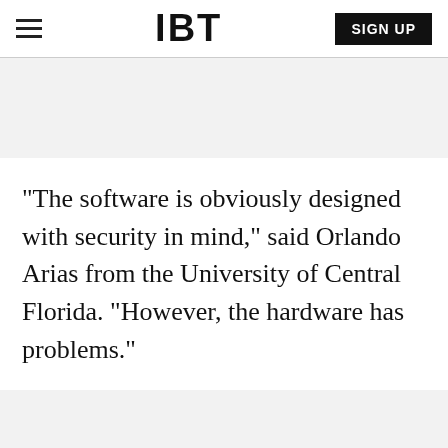IBT
"The software is obviously designed with security in mind," said Orlando Arias from the University of Central Florida. "However, the hardware has problems."